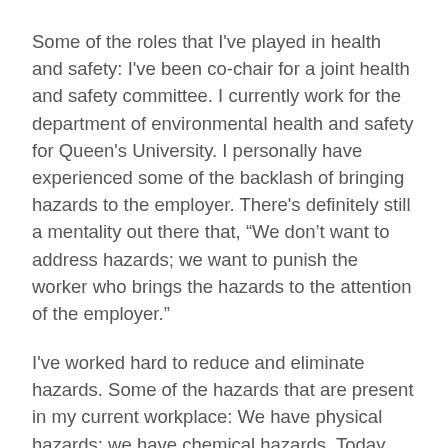Some of the roles that I've played in health and safety: I've been co-chair for a joint health and safety committee. I currently work for the department of environmental health and safety for Queen's University. I personally have experienced some of the backlash of bringing hazards to the employer. There's definitely still a mentality out there that, “We don’t want to address hazards; we want to punish the worker who brings the hazards to the attention of the employer.”
I've worked hard to reduce and eliminate hazards. Some of the hazards that are present in my current workplace: We have physical hazards; we have chemical hazards. Today, before I left the workplace, I checked, and we currently have 4,887 chemicals in my workplace. In addition to chemical hazards, we have biological hazards, we have radioactive hazards, ergonomic, and now we even have nanotechnology coming into the workplace. These are all things that we need to be addressing from a hazard-based